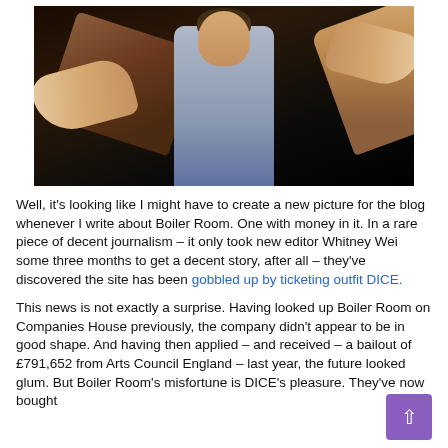[Figure (photo): A man in a grey shirt with a serious expression, being shown an empty open wallet by two hands from the sides, against a dark background.]
Well, it's looking like I might have to create a new picture for the blog whenever I write about Boiler Room. One with money in it. In a rare piece of decent journalism – it only took new editor Whitney Wei some three months to get a decent story, after all – they've discovered the site has been gobbled up by ticketing outfit DICE.
This news is not exactly a surprise. Having looked up Boiler Room on Companies House previously, the company didn't appear to be in good shape. And having then applied – and received – a bailout of £791,652 from Arts Council England – last year, the future looked glum. But Boiler Room's misfortune is DICE's pleasure. They've now bought